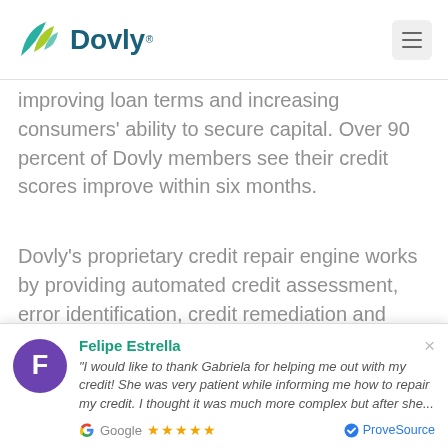[Figure (logo): Dovly logo with stylized bird/leaf icon in green and teal, with 'Dovly' text in dark teal/blue]
improving loan terms and increasing consumers' ability to secure capital. Over 90 percent of Dovly members see their credit scores improve within six months.
Dovly's proprietary credit repair engine works by providing automated credit assessment, error identification, credit remediation and credit maintenance for members.
Felipe Estrella
"I would like to thank Gabriela for helping me out with my credit! She was very patient while informing me how to repair my credit. I thought it was much more complex but after she..."
Google ★★★★★ ProveSource